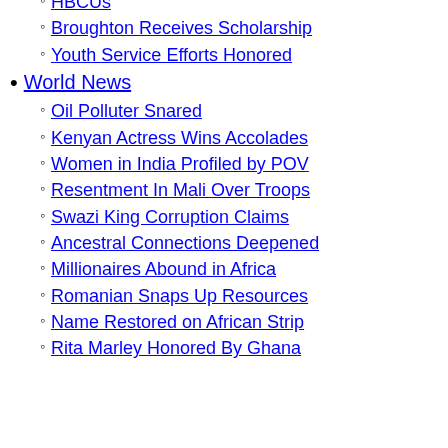HBCUs
Broughton Receives Scholarship
Youth Service Efforts Honored
World News
Oil Polluter Snared
Kenyan Actress Wins Accolades
Women in India Profiled by POV
Resentment In Mali Over Troops
Swazi King Corruption Claims
Ancestral Connections Deepened
Millionaires Abound in Africa
Romanian Snaps Up Resources
Name Restored on African Strip
Rita Marley Honored By Ghana